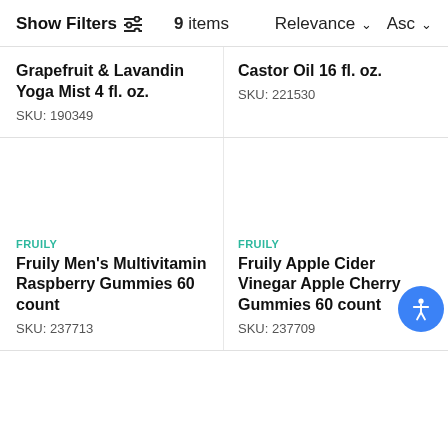Show Filters  9 items  Relevance ∨  Asc ∨
Grapefruit & Lavandin Yoga Mist 4 fl. oz.
SKU: 190349
Castor Oil 16 fl. oz.
SKU: 221530
FRUILY
Fruily Men's Multivitamin Raspberry Gummies 60 count
SKU: 237713
FRUILY
Fruily Apple Cider Vinegar Apple Cherry Gummies 60 count
SKU: 237709